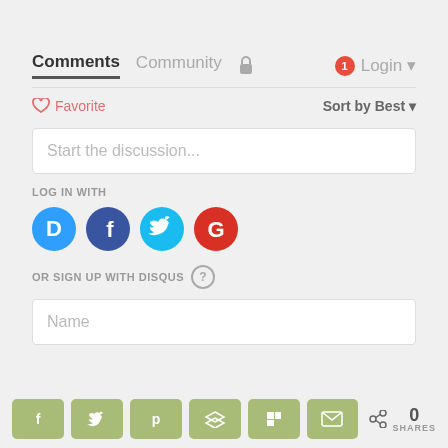Comments  Community  🔒  1  Login
♡ Favorite    Sort by Best ▾
Start the discussion...
LOG IN WITH
[Figure (logo): Social login icons: Disqus (blue speech bubble with D), Facebook (dark blue circle with F), Twitter (light blue circle with bird), Google (red circle with G)]
OR SIGN UP WITH DISQUS ?
Name
[Figure (infographic): Share bar with green buttons: Facebook, Twitter, Pinterest, Buffer, Flipboard, Email, and a share icon showing 0 SHARES]